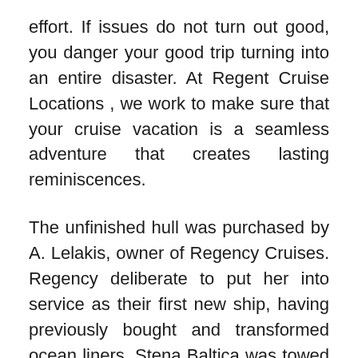effort. If issues do not turn out good, you danger your good trip turning into an entire disaster. At Regent Cruise Locations , we work to make sure that your cruise vacation is a seamless adventure that creates lasting reminiscences.
The unfinished hull was purchased by A. Lelakis, owner of Regency Cruises. Regency deliberate to put her into service as their first new ship, having previously bought and transformed ocean liners. Stena Baltica was towed to the Avlis Shipyards at Perama, Greece, where a